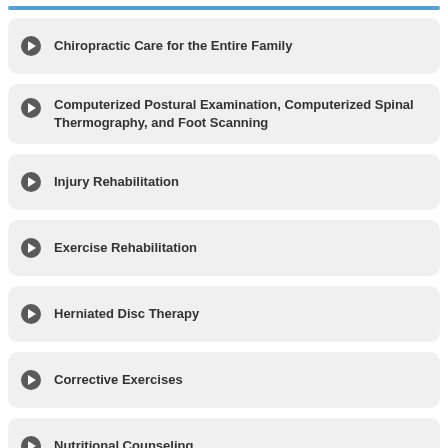Chiropractic Care for the Entire Family
Computerized Postural Examination, Computerized Spinal Thermography, and Foot Scanning
Injury Rehabilitation
Exercise Rehabilitation
Herniated Disc Therapy
Corrective Exercises
Nutritional Counseling